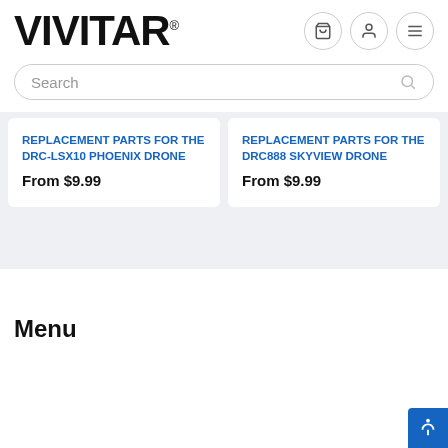[Figure (logo): VIVITAR logo in bold black text with registered trademark symbol]
Search
REPLACEMENT PARTS FOR THE DRC-LSX10 PHOENIX DRONE
From $9.99
REPLACEMENT PARTS FOR THE DRC888 SKYVIEW DRONE
From $9.99
Menu